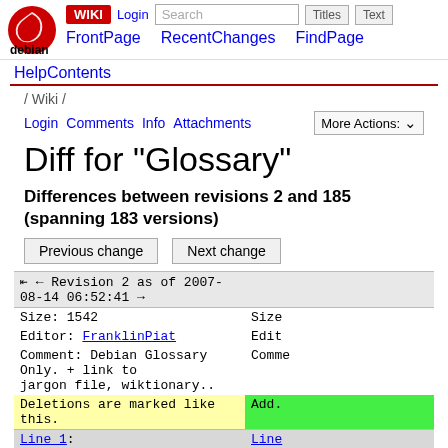WIKI | Login | Search | Titles | Text | FrontPage | RecentChanges | FindPage | debian logo
HelpContents
/ Wiki /
Login  Comments  Info  Attachments  More Actions:
Diff for "Glossary"
Differences between revisions 2 and 185 (spanning 183 versions)
Previous change    Next change
| Revision 2 as of 2007-08-14 06:52:41 |  |
| --- | --- |
| Size: 1542 | Size |
| Editor: FranklinPiat | Edit |
| Comment: Debian Glossary Only. + link to
jargon file, wiktionary.. | Comme |
Deletions are marked like this.
Line 1: